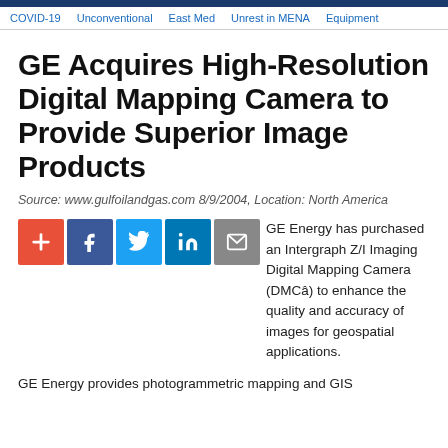COVID-19 | Unconventional | East Med | Unrest in MENA | Equipment
GE Acquires High-Resolution Digital Mapping Camera to Provide Superior Image Products
Source: www.gulfoilandgas.com 8/9/2004, Location: North America
[Figure (other): Social sharing icons: plus/add, Facebook, Twitter, LinkedIn, Email]
GE Energy has purchased an Intergraph Z/I Imaging Digital Mapping Camera (DMCâ) to enhance the quality and accuracy of images for geospatial applications.
GE Energy provides photogrammetric mapping and GIS